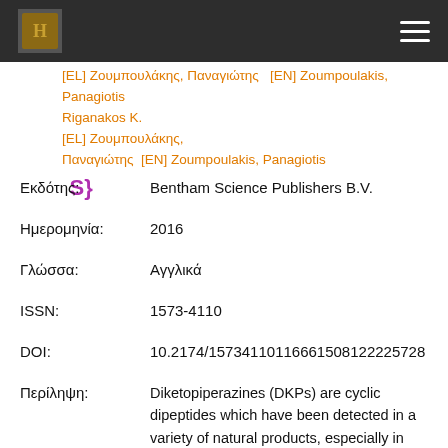Header bar with logo and navigation menu
[EL] Ζουμπουλάκης, Παναγιώτης [EN] Zoumpoulakis, Panagiotis S}
Riganakos K.
Εκδότης: Bentham Science Publishers B.V.
Ημερομηνία: 2016
Γλώσσα: Αγγλικά
ISSN: 1573-4110
DOI: 10.2174/15734110116661508122225728
Περίληψη: Diketopiperazines (DKPs) are cyclic dipeptides which have been detected in a variety of natural products, especially in thermally treated or fermented foods and beverages, providing a metallic bitter taste. DKPs